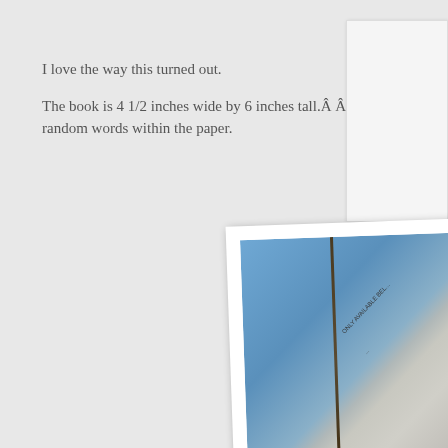I love the way this turned out.

The book is 4 1/2 inches wide by 6 inches tall.Â Â Â  The shredded bits to random words within the paper.
[Figure (photo): A photograph of an open handmade book showing its interior pages with shredded paper embedded, displayed at an angle with a finger holding it open. The left page shows blue coloring and the right page shows gray textured paper with some text visible.]